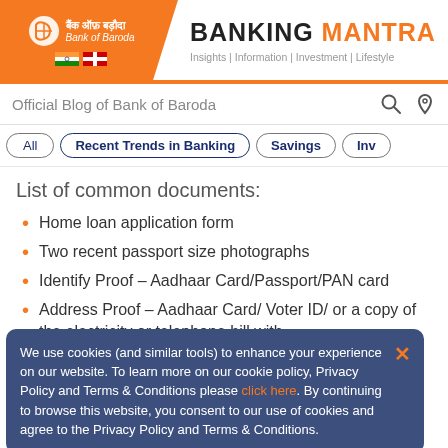Bank of Baroda — BANKING MANTRA | Insights | Information | Investment | Lifestyle
Official Blog of Bank of Baroda
All
Recent Trends in Banking
Savings
Inv...
List of common documents:
Home loan application form
Two recent passport size photographs
Identify Proof – Aadhaar Card/Passport/PAN card
Address Proof – Aadhaar Card/ Voter ID/ or a copy of the electricity or telephone bill with
We use cookies (and similar tools) to enhance your experience on our website. To learn more on our cookie policy, Privacy Policy and Terms & Conditions please click here. By continuing to browse this website, you consent to our use of cookies and agree to the Privacy Policy and Terms & Conditions.
Income tax return filing of the last two years